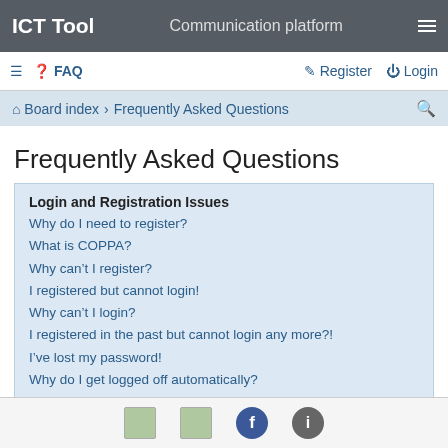ICT Tool   Communication platform
≡  ❓ FAQ    ✏ Register  ⏻ Login
⌂ Board index › Frequently Asked Questions
Frequently Asked Questions
Login and Registration Issues
Why do I need to register?
What is COPPA?
Why can't I register?
I registered but cannot login!
Why can't I login?
I registered in the past but cannot login any more?!
I've lost my password!
Why do I get logged off automatically?
What does the “Delete cookies” do?